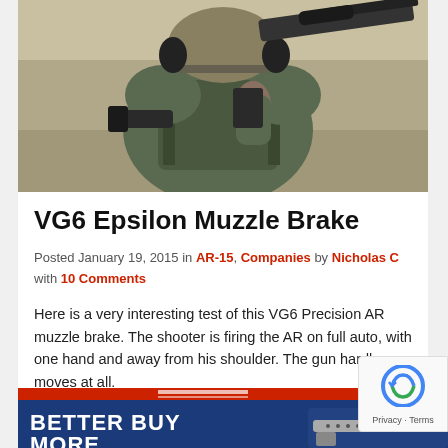[Figure (photo): Person in tactical gear holding an AR rifle at a shooting range, viewed from behind/side angle]
VG6 Epsilon Muzzle Brake
Posted January 19, 2015 in AR-15, Companies by Nicholas C with 10 Comments
Here is a very interesting test of this VG6 Precision AR muzzle brake. The shooter is firing the AR on full auto, with one hand and away from his shoulder. The gun hardly moves at all.
[Figure (screenshot): Advertisement banner reading BETTER BUY MORE with image of firearm on blue and red background]